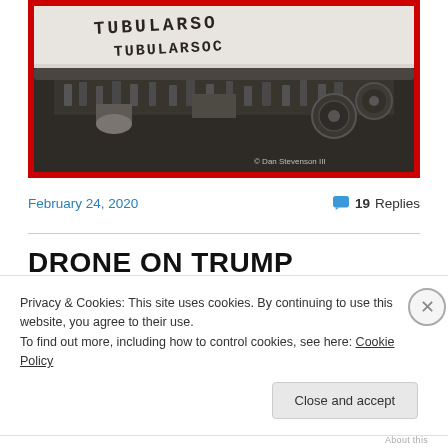[Figure (photo): Close-up photo of an antique typewriter with paper showing the text 'TUBULARSOC' being typed. Photo is framed with a thick red border. Watermark reads '© Dan Stevenson III'.]
February 24, 2020
19 Replies
DRONE ON TRUMP
Privacy & Cookies: This site uses cookies. By continuing to use this website, you agree to their use.
To find out more, including how to control cookies, see here: Cookie Policy
Close and accept